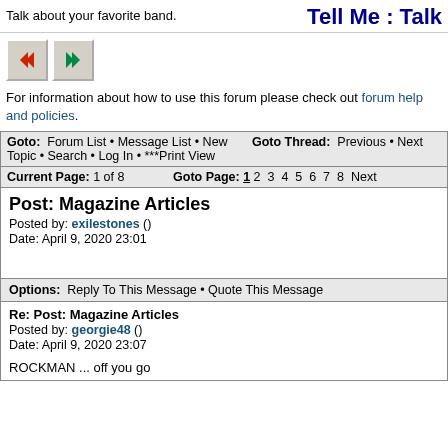Talk about your favorite band.    Tell Me : Talk
[Figure (other): Two navigation arrow buttons (back and forward)]
For information about how to use this forum please check out forum help and policies.
| Goto: Forum List • Message List • New Topic • Search • Log In • ***Print View | Goto Thread: Previous • Next |
| Current Page: 1 of 8 | Goto Page: 1 2 3 4 5 6 7 8 Next |
Post: Magazine Articles
Posted by: exilestones ()
Date: April 9, 2020 23:01
Options: Reply To This Message • Quote This Message
Re: Post: Magazine Articles
Posted by: georgie48 ()
Date: April 9, 2020 23:07

ROCKMAN ... off you go